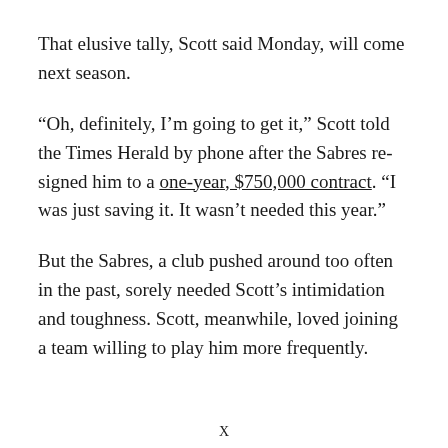That elusive tally, Scott said Monday, will come next season.
“Oh, definitely, I’m going to get it,” Scott told the Times Herald by phone after the Sabres resigned him to a one-year, $750,000 contract. “I was just saving it. It wasn’t needed this year.”
But the Sabres, a club pushed around too often in the past, sorely needed Scott’s intimidation and toughness. Scott, meanwhile, loved joining a team willing to play him more frequently.
X